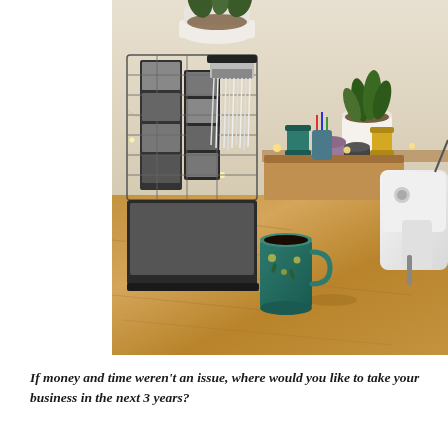[Figure (photo): A cozy craft/studio desk scene with a wooden OSB surface. Items visible include a decorative wall hanging with white yarn fringe, a wire grid board with black-and-white photo booth strips, potted plants, spools of thread and washi tape, fairy lights, a laptop, a white sewing machine, and a floral-patterned teal mug filled with coffee.]
If money and time weren't an issue, where would you like to take your business in the next 3 years?